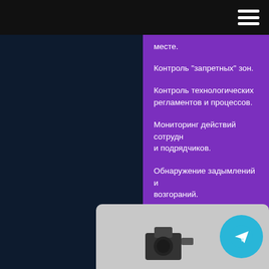[Figure (screenshot): Top navigation bar with hamburger menu icon (three horizontal white lines) on dark/black background]
месте.
Контроль "запретных" зон.
Контроль технологических регламентов и процессов.
Мониторинг действий сотрудников и подрядчиков.
Обнаружение задымлений и возгораний.
[Figure (photo): Partial view of camera equipment on grey background with Telegram messenger circular icon button in teal/cyan color]